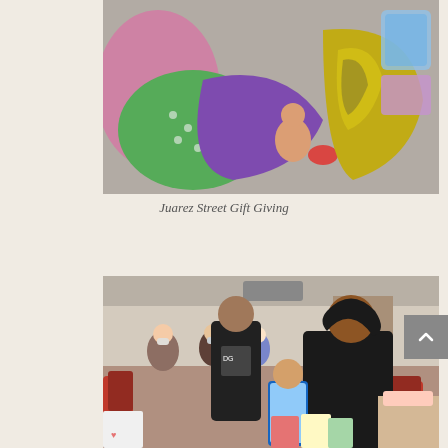[Figure (photo): Overhead view of colorful children's toys, dolls, and clothing items laid out on the floor including a pink and green polka dot outfit, purple fabric, yellow patterned fabric, a red toy, and snack bags on the right side.]
Juarez Street Gift Giving
[Figure (photo): Indoor community event photo showing people gathering in a hall. A woman in a black blazer leans over a child holding gift bags. A man in a black hoodie stands in the background. Children and adults with masks are visible in the background. Red chairs and tables are visible.]